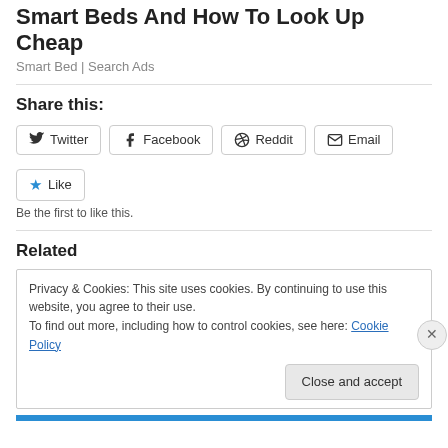Smart Beds And How To Look Up Cheap
Smart Bed | Search Ads
Share this:
Twitter Facebook Reddit Email
Like
Be the first to like this.
Related
Privacy & Cookies: This site uses cookies. By continuing to use this website, you agree to their use.
To find out more, including how to control cookies, see here: Cookie Policy
Close and accept